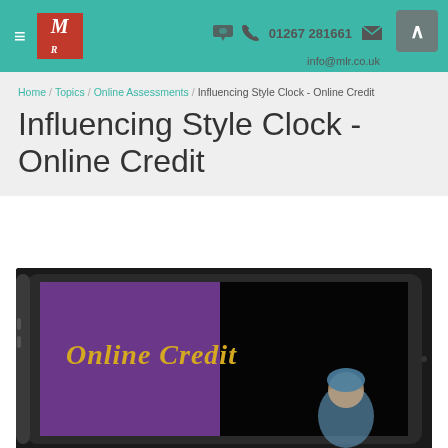≡  M | 01267 281661 ✉ info@mlr.co.uk
Home / Topics / Online Assessments / Influencing Style Clock - Online Credit
Influencing Style Clock - Online Credit
[Figure (photo): Tablet device displaying 'Online Credit' text with a purple background and a person in the background wearing a blue head covering.]